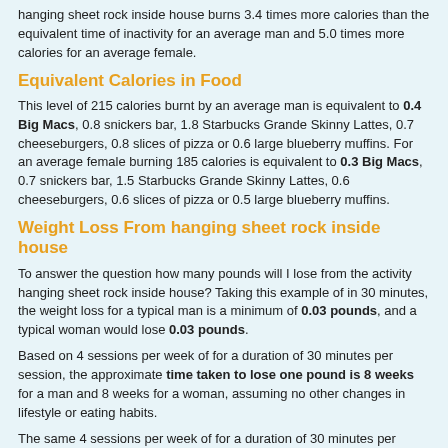hanging sheet rock inside house burns 3.4 times more calories than the equivalent time of inactivity for an average man and 5.0 times more calories for an average female.
Equivalent Calories in Food
This level of 215 calories burnt by an average man is equivalent to 0.4 Big Macs, 0.8 snickers bar, 1.8 Starbucks Grande Skinny Lattes, 0.7 cheeseburgers, 0.8 slices of pizza or 0.6 large blueberry muffins. For an average female burning 185 calories is equivalent to 0.3 Big Macs, 0.7 snickers bar, 1.5 Starbucks Grande Skinny Lattes, 0.6 cheeseburgers, 0.6 slices of pizza or 0.5 large blueberry muffins.
Weight Loss From hanging sheet rock inside house
To answer the question how many pounds will I lose from the activity hanging sheet rock inside house? Taking this example of in 30 minutes, the weight loss for a typical man is a minimum of 0.03 pounds, and a typical woman would lose 0.03 pounds.
Based on 4 sessions per week of for a duration of 30 minutes per session, the approximate time taken to lose one pound is 8 weeks for a man and 8 weeks for a woman, assuming no other changes in lifestyle or eating habits.
The same 4 sessions per week of for a duration of 30 minutes per session, would lose 1kg in 4 weeks for a man and 4 weeks for a woman.
Get your FREE Diet and Fitness ebooks here or click on the images below to